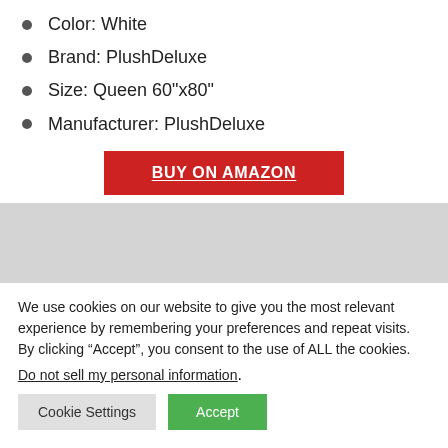Color: White
Brand: PlushDeluxe
Size: Queen 60"x80"
Manufacturer: PlushDeluxe
[Figure (other): BUY ON AMAZON button (red background, white bold text)]
[Figure (photo): Gray placeholder image of a product]
We use cookies on our website to give you the most relevant experience by remembering your preferences and repeat visits. By clicking “Accept”, you consent to the use of ALL the cookies.
Do not sell my personal information.
Cookie Settings   Accept